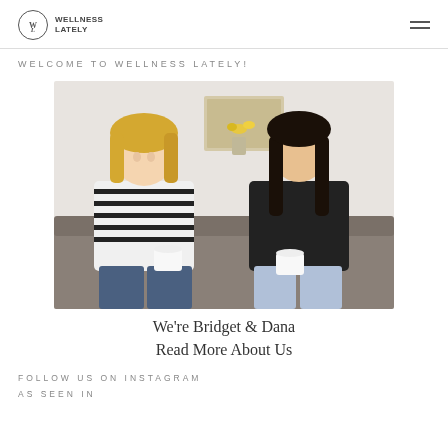WELLNESS LATELY
WELCOME TO WELLNESS LATELY!
[Figure (photo): Two women sitting on a grey couch, each holding a white mug. The woman on the left has blonde hair and wears a striped top. The woman on the right has long dark hair and wears a black shirt. There is a vase with yellow flowers in the background.]
We're Bridget & Dana
Read More About Us
FOLLOW US ON INSTAGRAM
AS SEEN IN